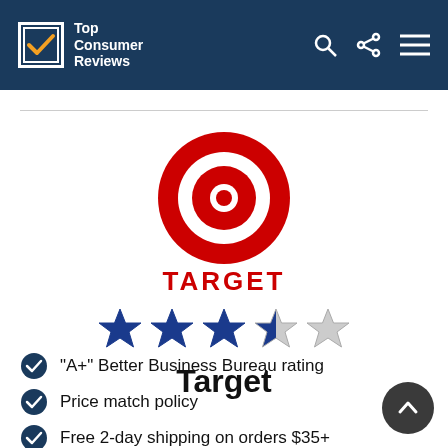Top Consumer Reviews
[Figure (logo): Target bullseye logo in red]
Target
[Figure (other): 3.5 out of 5 stars rating]
"A+" Better Business Bureau rating
Price match policy
Free 2-day shipping on orders $35+